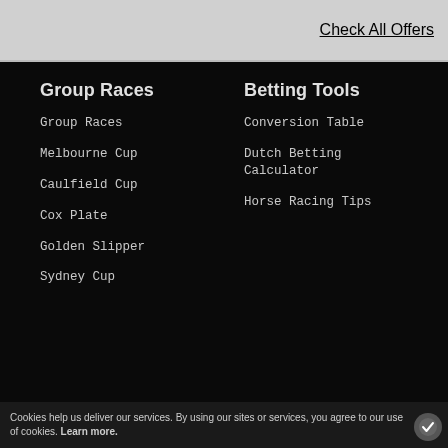Check All Offers
Group Races
Betting Tools
Group Races
Conversion Table
Melbourne Cup
Dutch Betting Calculator
Caulfield Cup
Horse Racing Tips
Cox Plate
Golden Slipper
Sydney Cup
Cookies help us deliver our services. By using our sites or services, you agree to our use of cookies. Learn more.